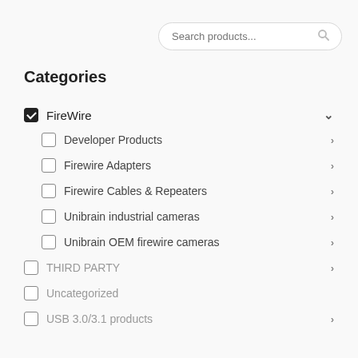[Figure (screenshot): Search bar with placeholder text 'Search products...' and a search icon on the right, rounded pill shape]
Categories
FireWire (checked, expanded with chevron down)
Developer Products (unchecked, chevron right)
Firewire Adapters (unchecked, chevron right)
Firewire Cables & Repeaters (unchecked, chevron right)
Unibrain industrial cameras (unchecked, chevron right)
Unibrain OEM firewire cameras (unchecked, chevron right)
THIRD PARTY (unchecked, chevron right)
Uncategorized (unchecked, no chevron)
USB 3.0/3.1 products (unchecked, chevron right)